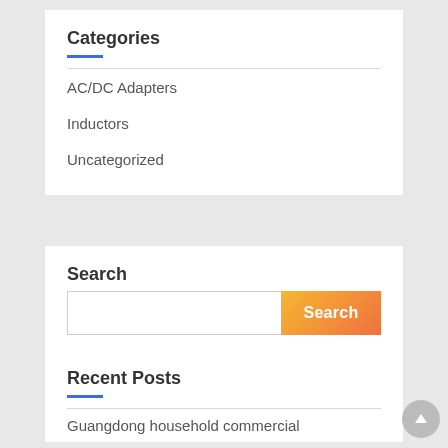Categories
AC/DC Adapters
Inductors
Uncategorized
Search
Recent Posts
Guangdong household commercial